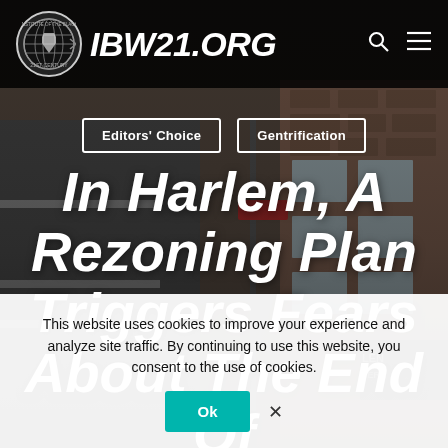[Figure (screenshot): IBW21.org website screenshot showing a dark hero section with brick building background, navigation bar with logo and site name IBW21.ORG, category tag buttons for Editors' Choice and Gentrification, and large italic white headline 'In Harlem, A Rezoning Plan Triggers Fears About The End Of A Black Oasis', with a cookie consent overlay at the bottom]
IBW21.ORG
Editors' Choice
Gentrification
In Harlem, A Rezoning Plan Triggers Fears About The End Of A Black Oasis'
This website uses cookies to improve your experience and analyze site traffic. By continuing to use this website, you consent to the use of cookies.